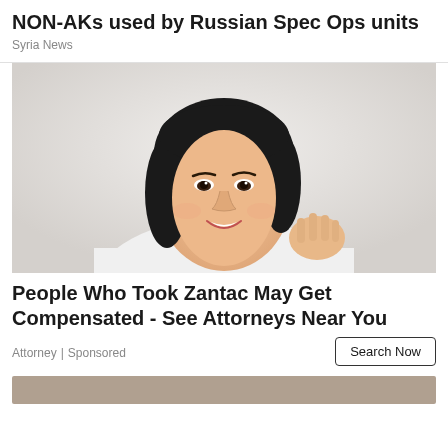NON-AKs used by Russian Spec Ops units
Syria News
[Figure (photo): Portrait photo of a smiling young Asian woman with short black hair wearing a white blazer, against a light grey background, holding her hand near her chin]
People Who Took Zantac May Get Compensated - See Attorneys Near You
Attorney | Sponsored
Search Now